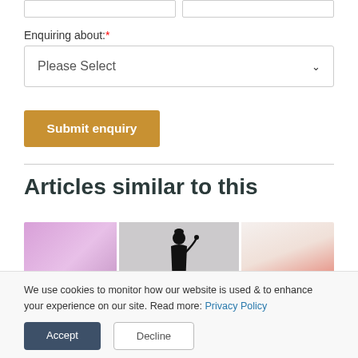Enquiring about: *
Please Select
Submit enquiry
Articles similar to this
[Figure (photo): Three article thumbnail images side by side: purple blurred background, black and white figure of person on grey background, and red/orange items on light background]
We use cookies to monitor how our website is used & to enhance your experience on our site. Read more: Privacy Policy
Accept
Decline